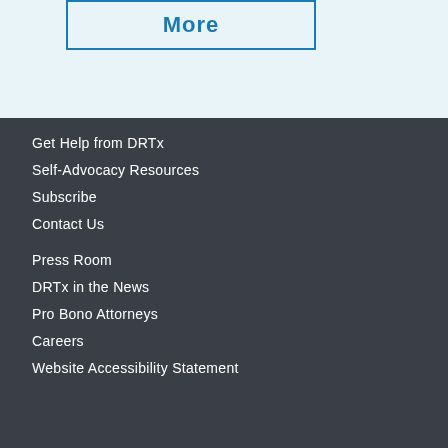[Figure (other): Partial button with text 'More' in blue border on light blue background]
Get Help from DRTx
Self-Advocacy Resources
Subscribe
Contact Us
Press Room
DRTx in the News
Pro Bono Attorneys
Careers
Website Accessibility Statement